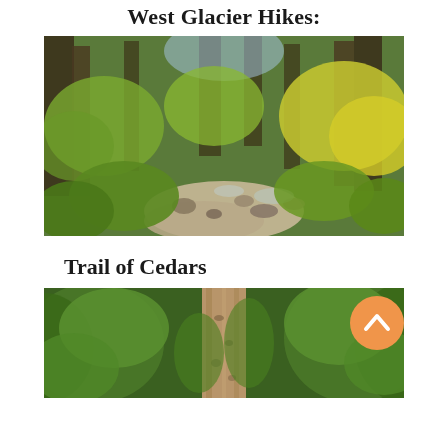West Glacier Hikes:
[Figure (photo): Forest trail with stream, lush green and yellow foliage, rocky creek bed, tall trees in background]
Trail of Cedars
[Figure (photo): Large cedar tree trunk in foreground surrounded by dense green conifer branches in forest]
[Figure (other): Orange circular scroll-to-top button with upward chevron arrow icon]